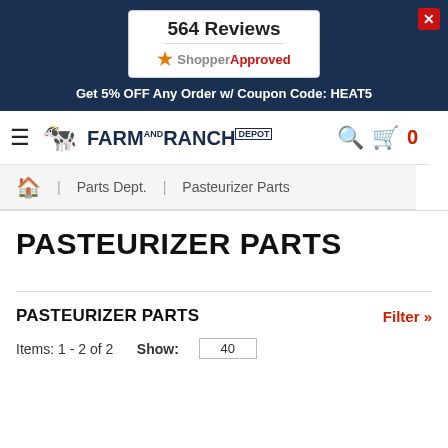564 Reviews — ShopperApproved
Get 5% OFF Any Order w/ Coupon Code: HEAT5
[Figure (logo): Farm and Ranch Depot logo with cow icon, hamburger menu, search icon, and cart icon showing 0 items]
Home > Parts Dept. > Pasteurizer Parts
PASTEURIZER PARTS
PASTEURIZER PARTS
Filter »
Items: 1 - 2 of 2     Show:  40